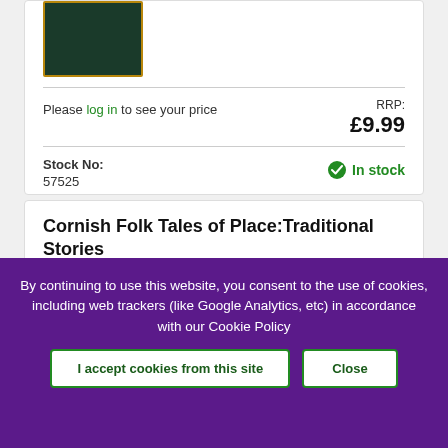[Figure (photo): Book cover thumbnail, dark green with gold border]
Please log in to see your price
RRP: £9.99
Stock No:
57525
In stock
Cornish Folk Tales of Place:Traditional Stories
[Figure (photo): Book cover thumbnail showing CORNISH text on light background]
Cornwall's rugged coast is etched with stories. Here you'll find tales of
By continuing to use this website, you consent to the use of cookies, including web trackers (like Google Analytics, etc) in accordance with our Cookie Policy
I accept cookies from this site
Close